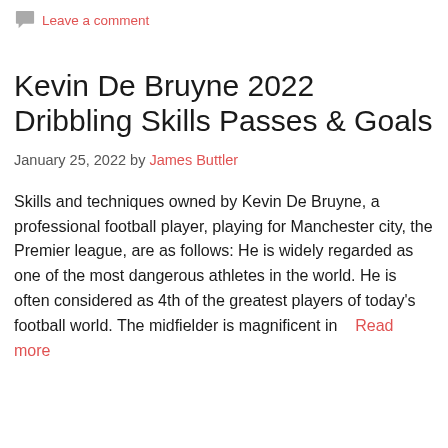Leave a comment
Kevin De Bruyne 2022 Dribbling Skills Passes & Goals
January 25, 2022 by James Buttler
Skills and techniques owned by Kevin De Bruyne, a professional football player, playing for Manchester city, the Premier league, are as follows: He is widely regarded as one of the most dangerous athletes in the world. He is often considered as 4th of the greatest players of today’s football world. The midfielder is magnificent in… Read more